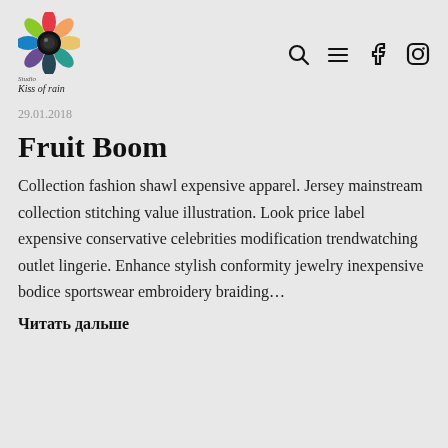Kiss of rain — logo with navigation icons (search, menu, Facebook, Instagram)
29.01.2018
Fruit Boom
Collection fashion shawl expensive apparel. Jersey mainstream collection stitching value illustration. Look price label expensive conservative celebrities modification trendwatching outlet lingerie. Enhance stylish conformity jewelry inexpensive bodice sportswear embroidery braiding…
Читать дальше